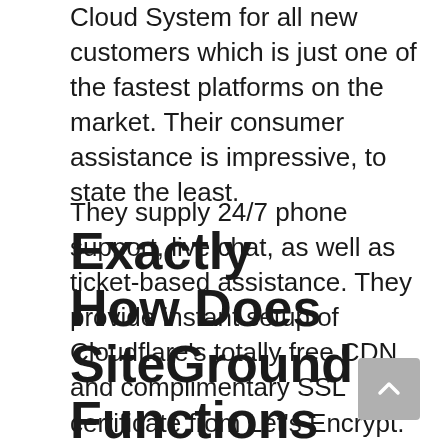Cloud System for all new customers which is just one of the fastest platforms on the market. Their consumer assistance is impressive, to state the least.
They supply 24/7 phone support, live chat, as well as ticket-based assistance. They provide instant setup of Cloudflare's totally free CDN and complimentary SSL certificate from Let's Encrypt. They have information centers on 3 continents. You can pick the area you favor during signup.
Exactly How Does SiteGround Functions